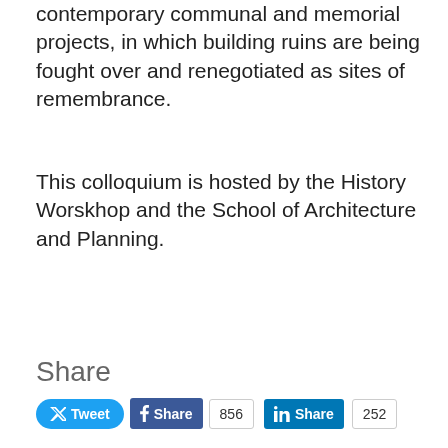contemporary communal and memorial projects, in which building ruins are being fought over and renegotiated as sites of remembrance.
This colloquium is hosted by the History Worskhop and the School of Architecture and Planning.
[Figure (other): Add event to calendar button (blue)]
Share
[Figure (other): Social sharing buttons: Tweet, Facebook Share (856), LinkedIn Share (252)]
[Figure (other): March 2018 calendar widget showing dates 26-11]